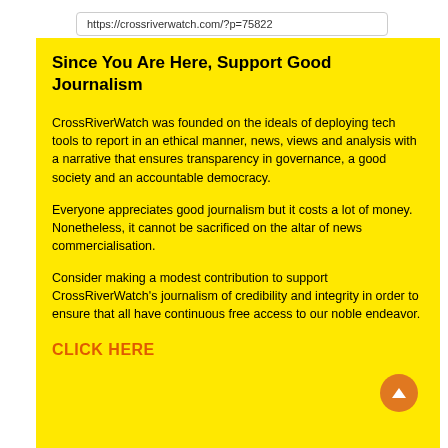https://crossriverwatch.com/?p=75822
Since You Are Here, Support Good Journalism
CrossRiverWatch was founded on the ideals of deploying tech tools to report in an ethical manner, news, views and analysis with a narrative that ensures transparency in governance, a good society and an accountable democracy.
Everyone appreciates good journalism but it costs a lot of money. Nonetheless, it cannot be sacrificed on the altar of news commercialisation.
Consider making a modest contribution to support CrossRiverWatch's journalism of credibility and integrity in order to ensure that all have continuous free access to our noble endeavor.
CLICK HERE